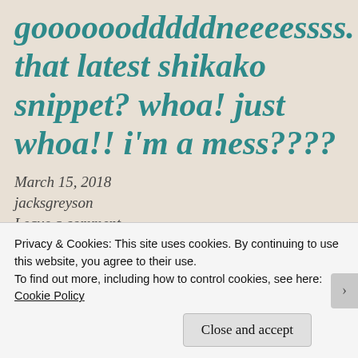goooooodddddneeeeessss. that latest shikako snippet? whoa! just whoa!! i'm a mess????
March 15, 2018
jacksgreyson
Leave a comment
😀 Yay! That's what I was going for, anon.
Privacy & Cookies: This site uses cookies. By continuing to use this website, you agree to their use.
To find out more, including how to control cookies, see here: Cookie Policy